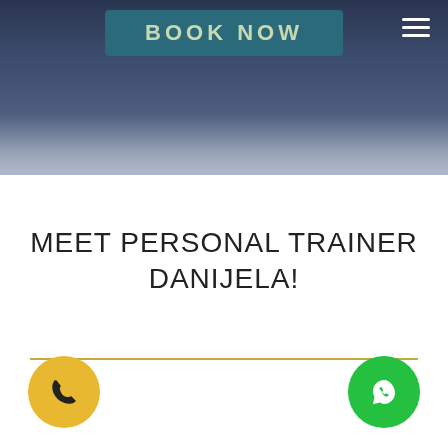[Figure (photo): Hero image of a gym/fitness setting with a teal 'BOOK NOW' button and a dark blue/grey background. Hamburger menu icon in top right.]
MEET PERSONAL TRAINER DANIJELA!
[Figure (illustration): A gold/yellow horizontal divider line]
[Figure (illustration): Yellow circular phone call button on the bottom left]
[Figure (illustration): Green circular WhatsApp button on the bottom right]